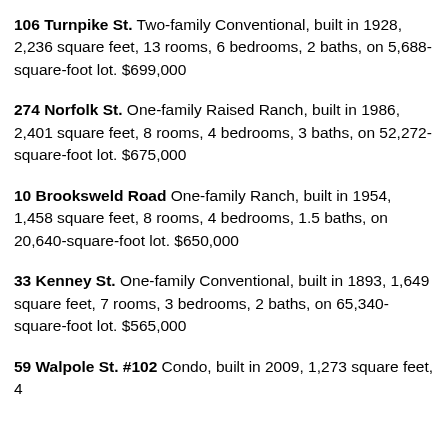106 Turnpike St. Two-family Conventional, built in 1928, 2,236 square feet, 13 rooms, 6 bedrooms, 2 baths, on 5,688-square-foot lot. $699,000
274 Norfolk St. One-family Raised Ranch, built in 1986, 2,401 square feet, 8 rooms, 4 bedrooms, 3 baths, on 52,272-square-foot lot. $675,000
10 Brooksweld Road One-family Ranch, built in 1954, 1,458 square feet, 8 rooms, 4 bedrooms, 1.5 baths, on 20,640-square-foot lot. $650,000
33 Kenney St. One-family Conventional, built in 1893, 1,649 square feet, 7 rooms, 3 bedrooms, 2 baths, on 65,340-square-foot lot. $565,000
59 Walpole St. #102 Condo, built in 2009, 1,273 square feet, 4